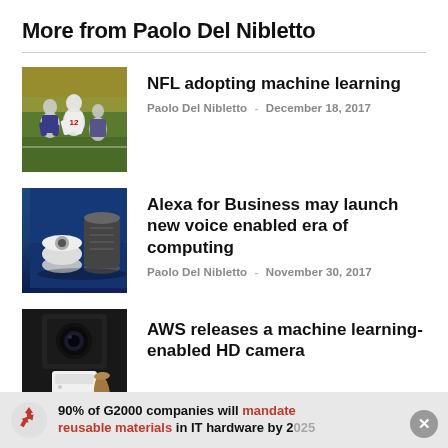More from Paolo Del Nibletto
[Figure (photo): NFL football players in action on field]
NFL adopting machine learning
Paolo Del Nibletto - December 18, 2017
[Figure (photo): Amazon Echo devices on dark blue background]
Alexa for Business may launch new voice enabled era of computing
Paolo Del Nibletto - November 30, 2017
[Figure (photo): AWS HD camera device on dark background]
AWS releases a machine learning-enabled HD camera
90% of G2000 companies will mandate reusable materials in IT hardware by 2025